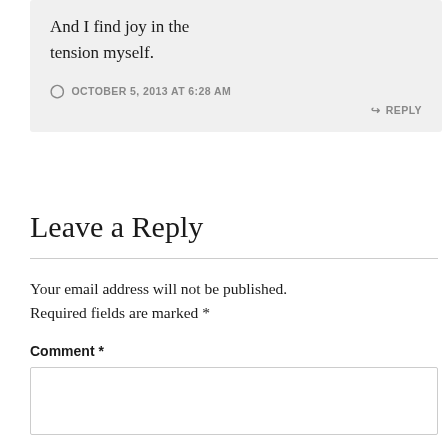And I find joy in the tension myself.
OCTOBER 5, 2013 AT 6:28 AM
↳ REPLY
Leave a Reply
Your email address will not be published. Required fields are marked *
Comment *